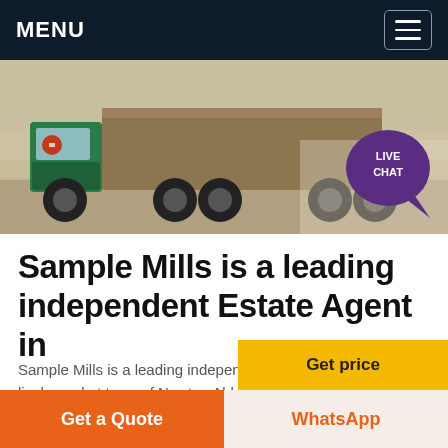MENU
[Figure (photo): A green truck loaded with materials driving on a dusty road at a construction or quarry site. A purple speech bubble with 'LIVE CHAT' text is overlaid in the top right corner.]
Sample Mills is a leading independent Estate Agent in
Sample Mills is a leading independent Estate Agent in the lively market town of Newton Abbot specialising in buying, selling and letting residential property in the Teignbridge and Torbay areas. We are a friendly, traditional estate agency that combines our years
Get price
Get a Quote
WhatsApp